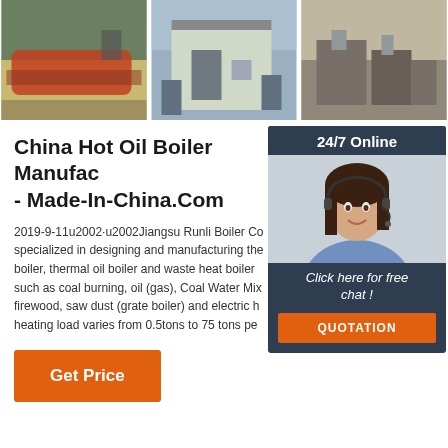[Figure (photo): Three photos of industrial hot oil boilers - first shows a large horizontal boiler on a truck/transport, second shows a boiler installation at a building, third shows outdoor boiler machinery]
China Hot Oil Boiler Manufacturers - Made-In-China.Com
2019-9-11u2002·u2002Jiangsu Runli Boiler Co specialized in designing and manufacturing the boiler, thermal oil boiler and waste heat boiler such as coal burning, oil (gas), Coal Water Mix firewood, saw dust (grate boiler) and electric h heating load varies from 0.5tons to 75 tons pe
[Figure (photo): Chat widget overlay showing 24/7 Online support with a customer service representative photo, Click here for free chat button, and QUOTATION button]